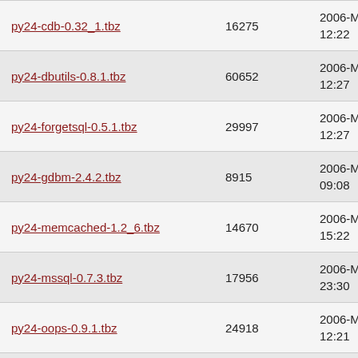| py24-cdb-0.32_1.tbz | 16275 | 2006-Mar-03 12:22 |
| py24-dbutils-0.8.1.tbz | 60652 | 2006-Mar-03 12:27 |
| py24-forgetsql-0.5.1.tbz | 29997 | 2006-Mar-03 12:27 |
| py24-gdbm-2.4.2.tbz | 8915 | 2006-Mar-04 09:08 |
| py24-memcached-1.2_6.tbz | 14670 | 2006-Mar-03 15:22 |
| py24-mssql-0.7.3.tbz | 17956 | 2006-Mar-04 23:30 |
| py24-oops-0.9.1.tbz | 24918 | 2006-Mar-03 12:21 |
| py24-psycopg-1.1.21.tbz | 132713 | 2006-Mar-04 09:16 |
| py24-pydbx-0.13.tbz | 7372 | 2006-Mar-03 12:27 |
| py24-pysqlite-2.0.7_1.tbz | 59768 | 2006-Mar-04 13:00 |
| py24-pysqlite-2.1.3_1.tbz | 79532 | 2006-Mar-04 12:47 |